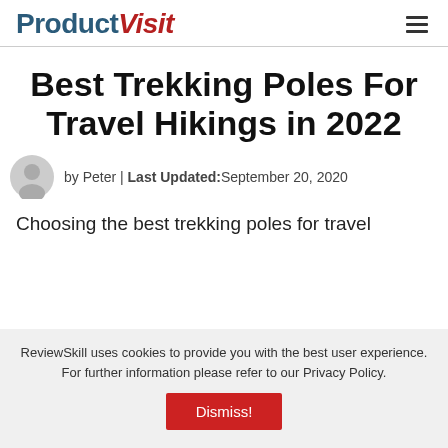ProductVisit
Best Trekking Poles For Travel Hikings in 2022
by Peter | Last Updated: September 20, 2020
Choosing the best trekking poles for travel
ReviewSkill uses cookies to provide you with the best user experience. For further information please refer to our Privacy Policy.